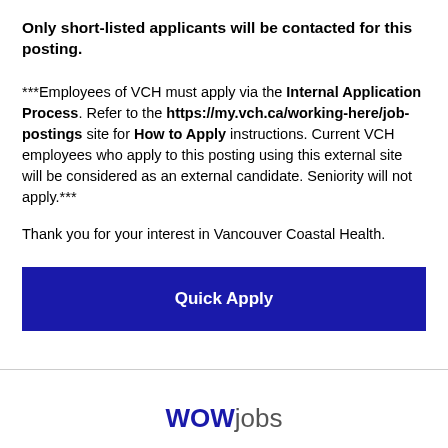Only short-listed applicants will be contacted for this posting.
***Employees of VCH must apply via the Internal Application Process. Refer to the https://my.vch.ca/working-here/job-postings site for How to Apply instructions. Current VCH employees who apply to this posting using this external site will be considered as an external candidate. Seniority will not apply.***
Thank you for your interest in Vancouver Coastal Health.
Quick Apply
WOWjobs